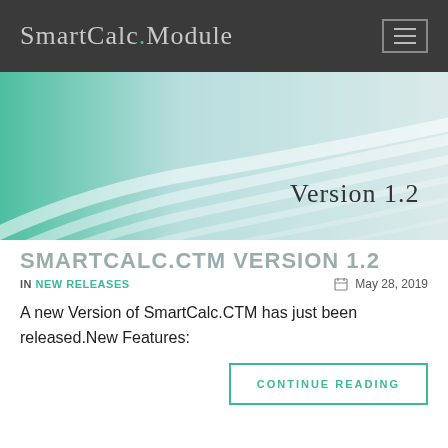SmartCalc.Module
[Figure (illustration): Abstract curved wave design with teal and white tones, 'Version 1.2' text in lower right]
SMARTCALC.CTM VERSION 1.2
IN NEW RELEASES   May 28, 2019
A new Version of SmartCalc.CTM has just been released.New Features:
CONTINUE READING